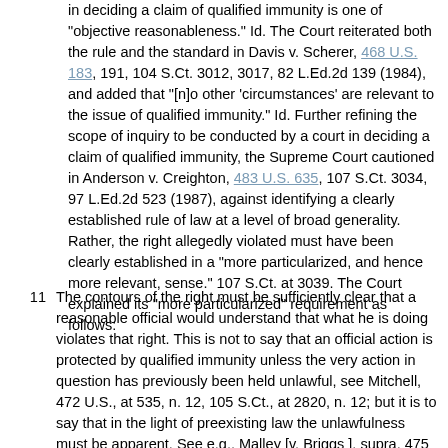in deciding a claim of qualified immunity is one of "objective reasonableness." Id. The Court reiterated both the rule and the standard in Davis v. Scherer, 468 U.S. 183, 191, 104 S.Ct. 3012, 3017, 82 L.Ed.2d 139 (1984), and added that "[n]o other 'circumstances' are relevant to the issue of qualified immunity." Id. Further refining the scope of inquiry to be conducted by a court in deciding a claim of qualified immunity, the Supreme Court cautioned in Anderson v. Creighton, 483 U.S. 635, 107 S.Ct. 3034, 97 L.Ed.2d 523 (1987), against identifying a clearly established rule of law at a level of broad generality. Rather, the right allegedly violated must have been clearly established in a "more particularized, and hence more relevant, sense." 107 S.Ct. at 3039. The Court explained its "more particularized" requirement as follows:
The contours of the right must be sufficiently clear that a reasonable official would understand that what he is doing violates that right. This is not to say that an official action is protected by qualified immunity unless the very action in question has previously been held unlawful, see Mitchell, 472 U.S., at 535, n. 12, 105 S.Ct., at 2820, n. 12; but it is to say that in the light of preexisting law the unlawfulness must be apparent. See e.g., Malley [v. Briggs ], supra, 475 U.S. , at 344-345, 106 S.Ct. [1092], at [1098, 89 L.Ed.2d 271 (1986) ]; Mitchell, supra, 472 U.S., at 528, 105 S.Ct., at 2816; Davis, supra